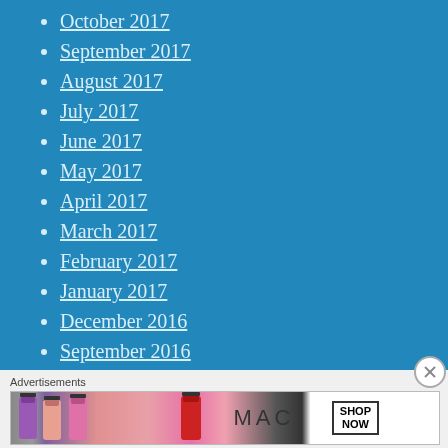October 2017
September 2017
August 2017
July 2017
June 2017
May 2017
April 2017
March 2017
February 2017
January 2017
December 2016
September 2016
August 2016
Advertisements
[Figure (illustration): MAC cosmetics advertisement banner showing lipsticks in purple, pink, and red colors with MAC logo and SHOP NOW call-to-action button]